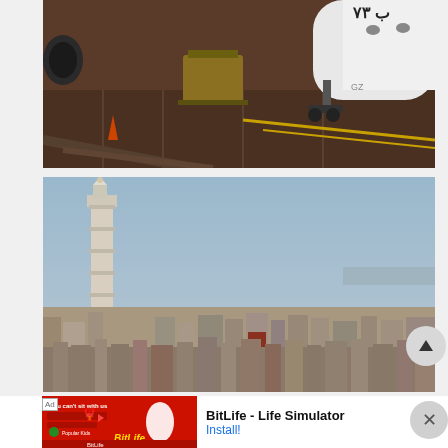[Figure (photo): Airplane on airport tarmac, viewed from elevated angle. White aircraft fuselage with Arabic script logo visible. Cargo loading equipment beside the plane on the tarmac.]
[Figure (photo): Cityscape of Casablanca, Morocco, with Hassan II Mosque minaret prominently visible on the left against a hazy sky. Dense urban buildings spread across the foreground.]
[Figure (screenshot): Mobile advertisement banner for 'BitLife - Life Simulator' app with red background game screenshot on left and app name and Install button on right. Ad label visible. Close button (X) on far right.]